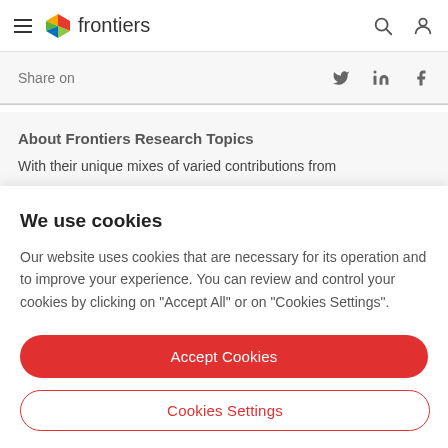frontiers
Share on
About Frontiers Research Topics
With their unique mixes of varied contributions from
We use cookies
Our website uses cookies that are necessary for its operation and to improve your experience. You can review and control your cookies by clicking on "Accept All" or on "Cookies Settings".
Accept Cookies
Cookies Settings